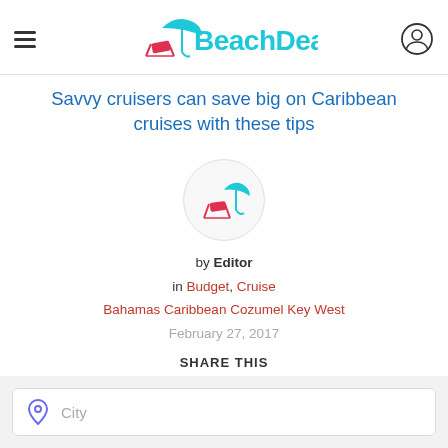BeachDeals
Savvy cruisers can save big on Caribbean cruises with these tips
[Figure (logo): Beach chair with umbrella icon in a circle, matching BeachDeals brand logo]
by Editor
in Budget, Cruise
Bahamas Caribbean Cozumel Key West
February 27, 2017
SHARE THIS
[Figure (infographic): Social share icons: Facebook, Twitter, Pinterest, Email]
City